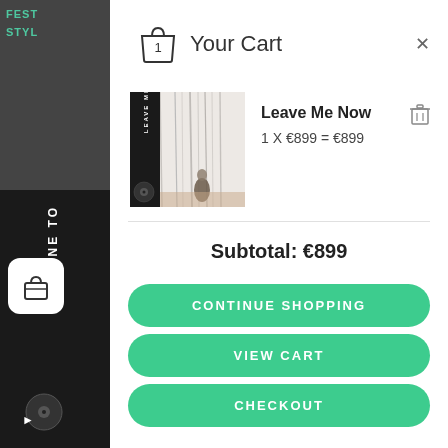Your Cart
[Figure (screenshot): Shopping cart item: Leave Me Now album cover - a person walking among bare white trees in misty forest, with dark left panel showing 'LEAVE ME NOW' text]
Leave Me Now
1 X €899 = €899
Subtotal: €899
CONTINUE SHOPPING
VIEW CART
CHECKOUT